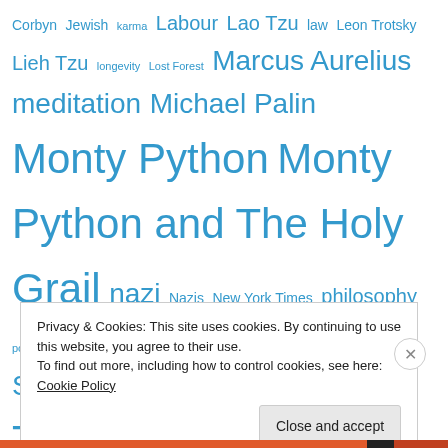Corbyn Jewish karma Labour Lao Tzu law Leon Trotsky Lieh Tzu longevity Lost Forest Marcus Aurelius meditation Michael Palin Monty Python Monty Python and The Holy Grail nazi Nazis New York Times philosophy poland publisher Rudolf Reder sage Seneca Socrates Spamalot stress Tao Taoism Taoist Tao Te Ching Terry Gilliam Terry Jones The 7th Python Transformational Breathing trial Twitter upanishads Well-being wisdom yang yin yoga Zen
Privacy & Cookies: This site uses cookies. By continuing to use this website, you agree to their use. To find out more, including how to control cookies, see here: Cookie Policy
Close and accept